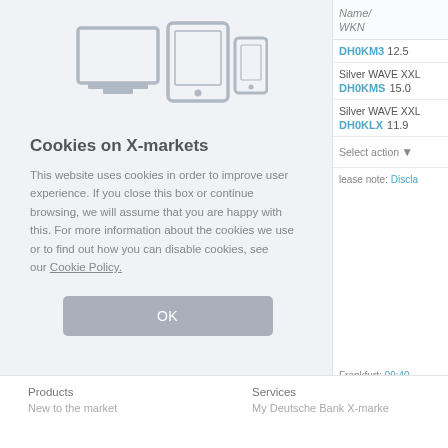[Figure (illustration): Three device icons: desktop monitor, tablet, and mobile phone in light gray outline style]
Cookies on X-markets
This website uses cookies in order to improve user experience. If you close this box or continue browsing, we will assume that you are happy with this. For more information about the cookies we use or to find out how you can disable cookies, see our Cookie Policy.
OK
| Name/ WKN | B |
| --- | --- |
| DH0KM3 | 12.5 |
| Silver WAVE XXL |  |
| DH0KMS | 15.0 |
| Silver WAVE XXL |  |
| DH0KLX | 11.9 |
Select action
lease note: Discla
Frankfurt: 09:40
Products
New to the market
Services
My Deutsche Bank X-marke